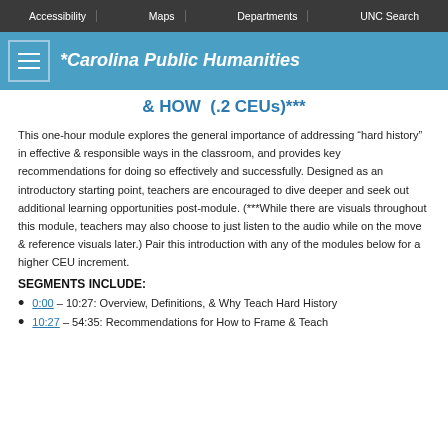Accessibility | Maps | Departments | UNC Search
Carolina Public Humanities
& HOW (.2 CEUs)***
This one-hour module explores the general importance of addressing “hard history” in effective & responsible ways in the classroom, and provides key recommendations for doing so effectively and successfully. Designed as an introductory starting point, teachers are encouraged to dive deeper and seek out additional learning opportunities post-module. (***While there are visuals throughout this module, teachers may also choose to just listen to the audio while on the move & reference visuals later.) Pair this introduction with any of the modules below for a higher CEU increment.
SEGMENTS INCLUDE:
0:00 – 10:27: Overview, Definitions, & Why Teach Hard History
10:27 – 54:35: Recommendations for How to Frame & Teach